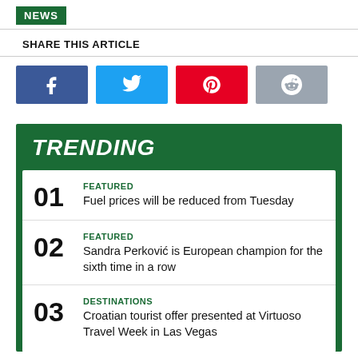NEWS
SHARE THIS ARTICLE
[Figure (other): Social share buttons: Facebook, Twitter, Pinterest, Reddit]
TRENDING
01 FEATURED Fuel prices will be reduced from Tuesday
02 FEATURED Sandra Perković is European champion for the sixth time in a row
03 DESTINATIONS Croatian tourist offer presented at Virtuoso Travel Week in Las Vegas